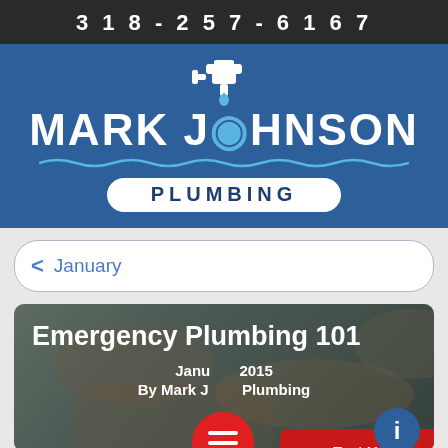318-257-6167
[Figure (logo): Mark Johnson Plumbing logo with faucet icon and wave decoration]
January
[Figure (photo): Plumber working with pipes, background image for article card]
Emergency Plumbing 101
January 2015
By Mark Johnson Plumbing